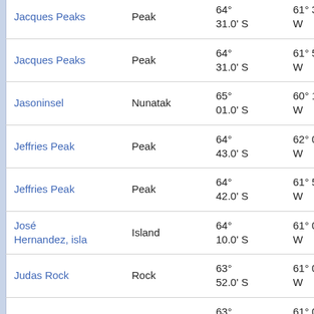| Name | Type | Latitude | Longitude | Extra |
| --- | --- | --- | --- | --- |
| Jacques Peaks | Peak | 64° 31.0' S | 61° 30.0' W | at |
| Jacques Peaks | Peak | 64° 31.0' S | 61° 51.0' W | 53 at |
| Jasoninsel | Nunatak | 65° 01.0' S | 60° 18.0' W | 39 at |
| Jeffries Peak | Peak | 64° 43.0' S | 62° 00.0' W | 48 at |
| Jeffries Peak | Peak | 64° 42.0' S | 61° 58.0' W | 47 at |
| José Hernandez, isla | Island | 64° 10.0' S | 61° 07.0' W | 74 at |
| Judas Rock | Rock | 63° 52.0' S | 61° 07.0' W | 10 at |
| Judas Rock | Rock | 63° 52.0' S | 61° 07.0' W | 10 at |